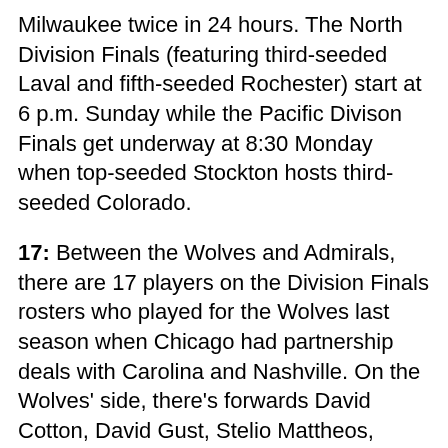Milwaukee twice in 24 hours. The North Division Finals (featuring third-seeded Laval and fifth-seeded Rochester) start at 6 p.m. Sunday while the Pacific Divison Finals get underway at 8:30 Monday when top-seeded Stockton hosts third-seeded Colorado.
17: Between the Wolves and Admirals, there are 17 players on the Division Finals rosters who played for the Wolves last season when Chicago had partnership deals with Carolina and Nashville. On the Wolves' side, there's forwards David Cotton, David Gust, Stelio Mattheos, Jamieson Rees, Spencer Smallman and Ryan Suzuki and defensemen Cavan Fitzgerald, Joey Keane and Max Lajoie. All but Cotton and Suzuki played in Game 1 Saturday. On the Admirals' side, there's forwards Luke Evangelista, Tommy Novak and Cole Smith, defensemen Jeremy Davies